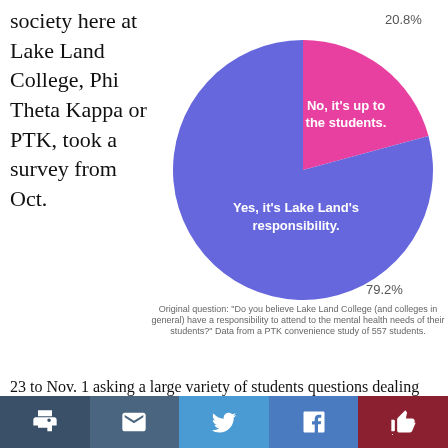society here at Lake Land College, Phi Theta Kappa or PTK, took a survey from Oct.
[Figure (pie-chart): ]
Original question: "Do you believe Lake Land College (and colleges in general) have a responsibility to attend to the mental health needs of their students?" Data from a PTK convenience study of 557 students.
23 to Nov. 1 asking a large variety of students questions dealing with their status as a student here at Lake Land College and their mental health. The survey is just one step in PTK's two major annual projects, the 2019-2020 College Project and their Honors in Action Project. The PTK
print | email | twitter | facebook | recommend